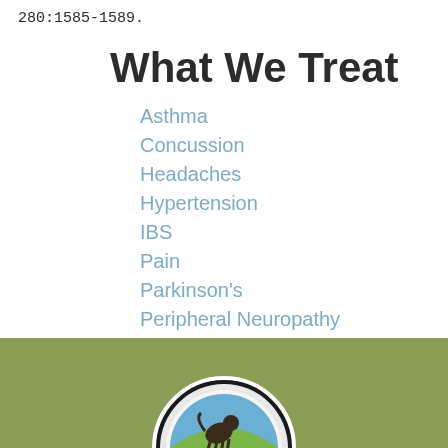280:1585-1589.
What We Treat
Asthma
Concussion
Headaches
Hypertension
IBS
Pain
Parkinson's
Peripheral Neuropathy
Stroke
[Figure (logo): Circular institutional seal/logo on olive green background, partially visible at bottom of page]